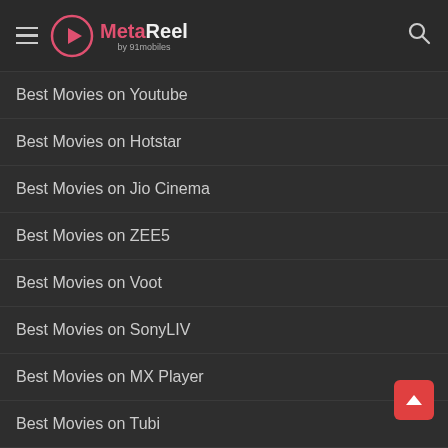MetaReel by 91mobiles
Best Movies on Youtube
Best Movies on Hotstar
Best Movies on Jio Cinema
Best Movies on ZEE5
Best Movies on Voot
Best Movies on SonyLIV
Best Movies on MX Player
Best Movies on Tubi
Best Shows on Netflix
Best Shows on Amazon Prime
Best Shows on ZEE5
Best Shows on Voot